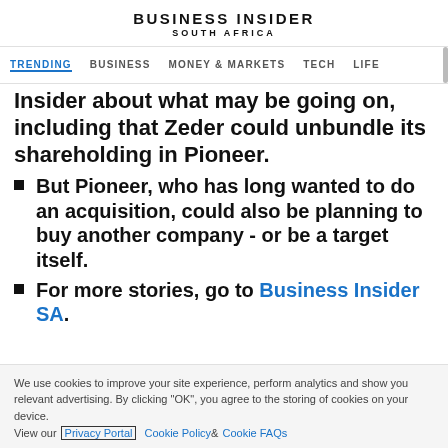BUSINESS INSIDER SOUTH AFRICA
TRENDING   BUSINESS   MONEY & MARKETS   TECH   LIFE
Insider about what may be going on, including that Zeder could unbundle its shareholding in Pioneer.
But Pioneer, who has long wanted to do an acquisition, could also be planning to buy another company - or be a target itself.
For more stories, go to Business Insider SA.
We use cookies to improve your site experience, perform analytics and show you relevant advertising. By clicking "OK", you agree to the storing of cookies on your device. View our Privacy Portal   Cookie Policy &   Cookie FAQs